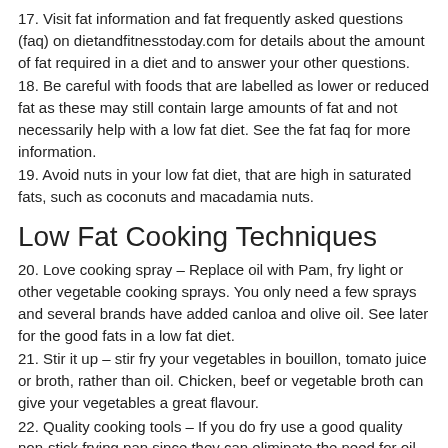17. Visit fat information and fat frequently asked questions (faq) on dietandfitnesstoday.com for details about the amount of fat required in a diet and to answer your other questions.
18. Be careful with foods that are labelled as lower or reduced fat as these may still contain large amounts of fat and not necessarily help with a low fat diet. See the fat faq for more information.
19. Avoid nuts in your low fat diet, that are high in saturated fats, such as coconuts and macadamia nuts.
Low Fat Cooking Techniques
20. Love cooking spray – Replace oil with Pam, fry light or other vegetable cooking sprays. You only need a few sprays and several brands have added canloa and olive oil. See later for the good fats in a low fat diet.
21. Stir it up – stir fry your vegetables in bouillon, tomato juice or broth, rather than oil. Chicken, beef or vegetable broth can give your vegetables a great flavour.
22. Quality cooking tools – If you do fry use a good quality non-stick frying pan since they can eliminate the need for oil.
23. Boil, broil, steam or bake instead of frying!
24. Throw out the deep fat fryer.
25. Use a trivet or stand when roasting to allow fat to drip out.
26. Measure oil out rather than pouring, you will use less.
27. Stir fry in a wok rather than shallow or deep frying.
28. Try poaching – Cooking fish or chicken in boiling water rather than frying it.